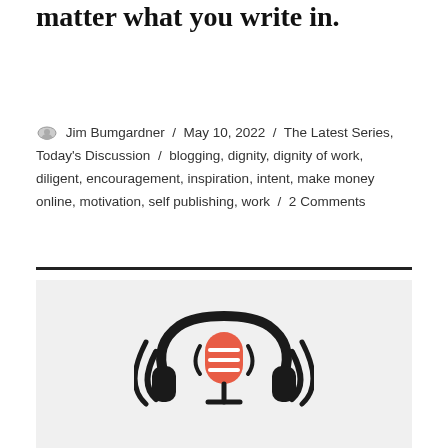matter what you write in.
Jim Bumgardner / May 10, 2022 / The Latest Series, Today's Discussion / blogging, dignity, dignity of work, diligent, encouragement, inspiration, intent, make money online, motivation, self publishing, work / 2 Comments
[Figure (logo): Podcast logo with microphone icon wearing headphones with sound waves, in red and black on light grey background]